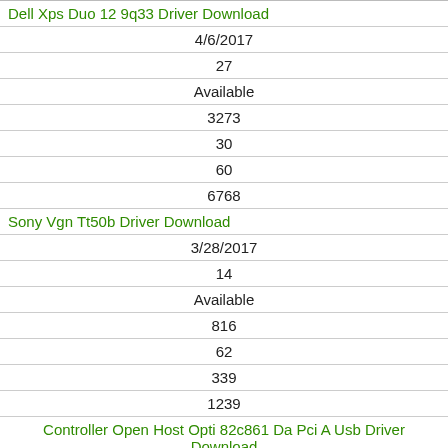| Dell Xps Duo 12 9q33 Driver Download |
| 4/6/2017 |
| 27 |
| Available |
| 3273 |
| 30 |
| 60 |
| 6768 |
| Sony Vgn Tt50b Driver Download |
| 3/28/2017 |
| 14 |
| Available |
| 816 |
| 62 |
| 339 |
| 1239 |
| Controller Open Host Opti 82c861 Da Pci A Usb Driver Download |
| 4/6/2017 |
| 29 |
| Available |